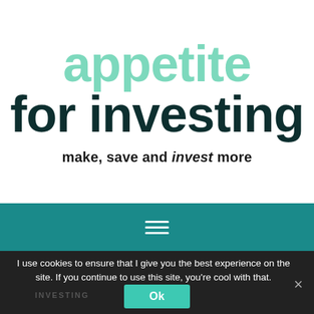appetite for investing
make, save and invest more
[Figure (other): Teal navigation bar with hamburger menu icon (three horizontal lines)]
I use cookies to ensure that I give you the best experience on the site. If you continue to use this site, you're cool with that.
Ok
INVESTING